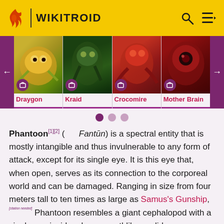WIKITROID
[Figure (photo): Carousel of Metroid boss characters: Draygon, Kraid, Crocomire, Mother Brain with navigation arrows and pagination dots]
Phantoon[1][2] ( Fantūn) is a spectral entity that is mostly intangible and thus invulnerable to any form of attack, except for its single eye. It is this eye that, when open, serves as its connection to the corporeal world and can be damaged. Ranging in size from four meters tall to ten times as large as Samus's Gunship,[citation needed] Phantoon resembles a giant cephalopod with a single eye inside a large mouthlike eyelid.
It feeds off raw energy[3][4] without directly interfacing